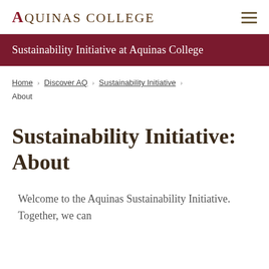AQUINAS COLLEGE
Sustainability Initiative at Aquinas College
Home › Discover AQ › Sustainability Initiative › About
Sustainability Initiative: About
Welcome to the Aquinas Sustainability Initiative. Together, we can